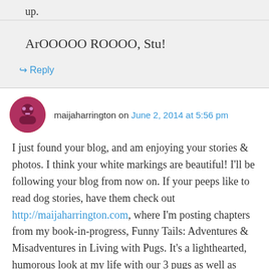up.
ArOOOOO ROOOO, Stu!
↳ Reply
maijaharrington on June 2, 2014 at 5:56 pm
I just found your blog, and am enjoying your stories & photos. I think your white markings are beautiful! I'll be following your blog from now on. If your peeps like to read dog stories, have them check out http://maijaharrington.com, where I'm posting chapters from my book-in-progress, Funny Tails: Adventures & Misadventures in Living with Pugs. It's a lighthearted, humorous look at my life with our 3 pugs as well as various other dogs featured for Pug Rescue of North